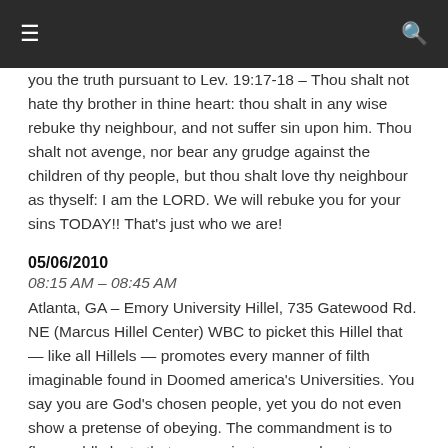≡  🔍
you the truth pursuant to Lev. 19:17-18 – Thou shalt not hate thy brother in thine heart: thou shalt in any wise rebuke thy neighbour, and not suffer sin upon him. Thou shalt not avenge, nor bear any grudge against the children of thy people, but thou shalt love thy neighbour as thyself: I am the LORD. We will rebuke you for your sins TODAY!! That's just who we are!
05/06/2010
08:15 AM – 08:45 AM
Atlanta, GA – Emory University Hillel, 735 Gatewood Rd. NE (Marcus Hillel Center) WBC to picket this Hillel that — like all Hillels — promotes every manner of filth imaginable found in Doomed america's Universities. You say you are God's chosen people, yet you do not even show a pretense of obeying. The commandment is to flee worldly lusts that war against your soul; yet, you run to and sponsor every form of lust. You weary God with your nonsense – Mal. 2:17 – Ye have wearied the LORD with your words. Yet ye say, Wherein have we wearied